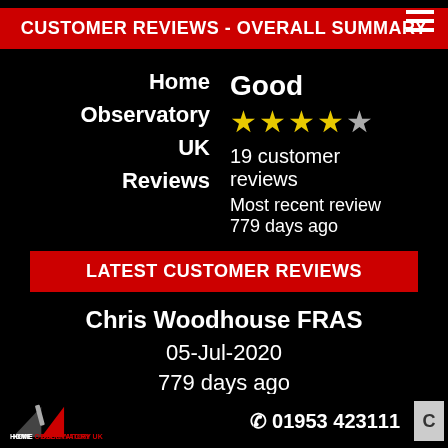CUSTOMER REVIEWS - OVERALL SUMMARY
Home Observatory UK Reviews
Good ★★★★☆ 19 customer reviews Most recent review 779 days ago
LATEST CUSTOMER REVIEWS
Chris Woodhouse FRAS
05-Jul-2020
779 days ago
Home Observatory UK  ☎ 01953 423111